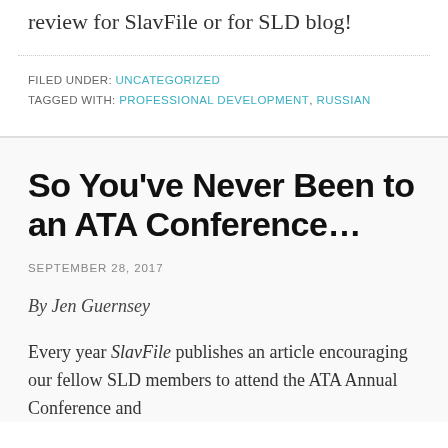review for SlavFile or for SLD blog!
FILED UNDER: UNCATEGORIZED
TAGGED WITH: PROFESSIONAL DEVELOPMENT, RUSSIAN
So You've Never Been to an ATA Conference…
SEPTEMBER 28, 2017
By Jen Guernsey
Every year SlavFile publishes an article encouraging our fellow SLD members to attend the ATA Annual Conference and